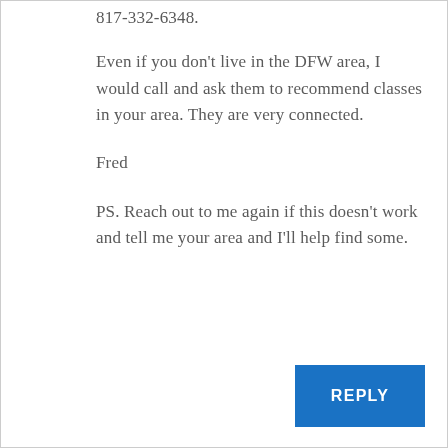817-332-6348.
Even if you don’t live in the DFW area, I would call and ask them to recommend classes in your area. They are very connected.
Fred
PS. Reach out to me again if this doesn’t work and tell me your area and I’ll help find some.
REPLY